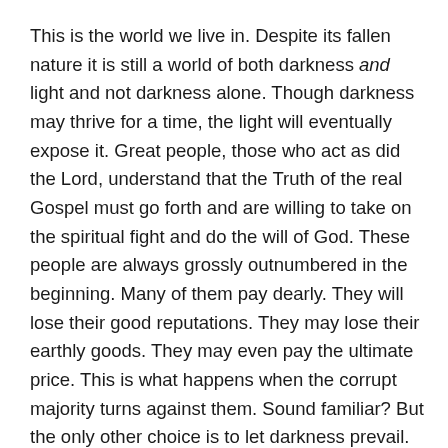This is the world we live in. Despite its fallen nature it is still a world of both darkness and light and not darkness alone. Though darkness may thrive for a time, the light will eventually expose it. Great people, those who act as did the Lord, understand that the Truth of the real Gospel must go forth and are willing to take on the spiritual fight and do the will of God. These people are always grossly outnumbered in the beginning. Many of them pay dearly. They will lose their good reputations. They may lose their earthly goods. They may even pay the ultimate price. This is what happens when the corrupt majority turns against them. Sound familiar? But the only other choice is to let darkness prevail.
That the majority of the world is wimpy in this regard and refuses to fight the enemy does not mean the enemy cannot be successfully fought. The Lord Jesus proved this